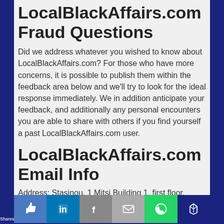LocalBlackAffairs.com Fraud Questions
Did we address whatever you wished to know about LocalBlackAffairs.com? For those who have more concerns, it is possible to publish them within the feedback area below and we'll try to look for the ideal response immediately. We in addition anticipate your feedback, and additionally any personal encounters you are able to share with others if you find yourself a past LocalBlackAffairs.com user.
LocalBlackAffairs.com Email Info
Address: Stasinou, 1 Mitsi Building 1, first floor, workplace 4 Plateia Eleftherias, Nicosia Cyprus 1060
Email Contact: legal@nautellcapitalltd.com and cs@localblackaffairs.com
Telep...
[Figure (screenshot): Social share bar at the bottom with icons for Like, LinkedIn, Facebook, Email, WhatsApp, and another platform. Shows 'Shares' label in bottom left.]